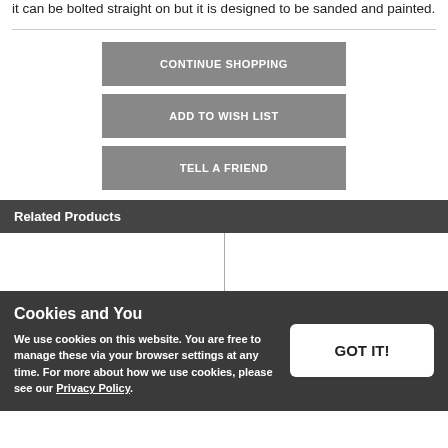it can be bolted straight on but it is designed to be sanded and painted.
CONTINUE SHOPPING
ADD TO WISH LIST
TELL A FRIEND
Related Products
Cookies and You
We use cookies on this website. You are free to manage these via your browser settings at any time. For more about how we use cookies, please see our Privacy Policy.
GOT IT!